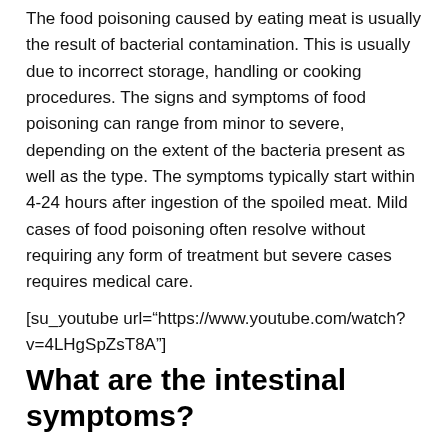The food poisoning caused by eating meat is usually the result of bacterial contamination. This is usually due to incorrect storage, handling or cooking procedures. The signs and symptoms of food poisoning can range from minor to severe, depending on the extent of the bacteria present as well as the type. The symptoms typically start within 4-24 hours after ingestion of the spoiled meat. Mild cases of food poisoning often resolve without requiring any form of treatment but severe cases requires medical care.
[su_youtube url="https://www.youtube.com/watch?v=4LHgSpZsT8A"]
What are the intestinal symptoms?
The symptoms of food poisoning initially affect the digestive tract. The intestinal system reacts to the invading bacteria with signs and symptoms such as bloating, abdominal cramps, nausea and gas. Once the body attempts to eliminate the